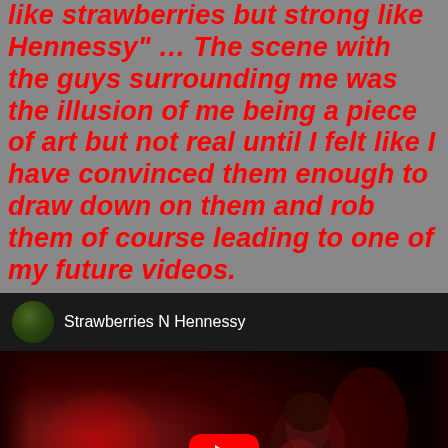like strawberries but strong like Hennessy" … The scene with the guys surrounding me was the illusion of me being a piece of art but not real until I felt like I have convinced them enough to draw down on them and rob them of course leading to one of my future videos.
[Figure (screenshot): YouTube video embed showing a music video titled 'Strawberries N Hennessy' with a channel avatar, video title bar, and a thumbnail showing a woman in red lighting with a YouTube play button overlay.]